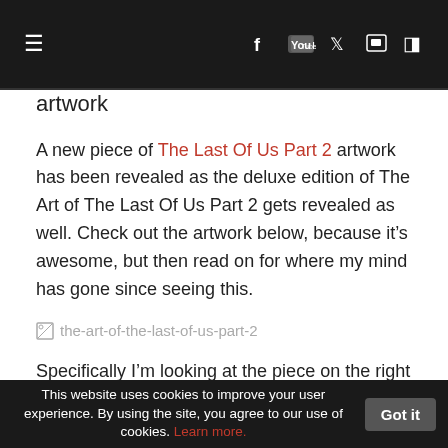≡  [navigation icons: facebook, youtube, twitter, twitch, rss]
artwork
A new piece of The Last Of Us Part 2 artwork has been revealed as the deluxe edition of The Art of The Last Of Us Part 2 gets revealed as well. Check out the artwork below, because it's awesome, but then read on for where my mind has gone since seeing this.
[Figure (photo): Broken image placeholder labeled 'the-art-of-the-last-of-us-part-2']
Specifically I'm looking at the piece on the right of the above image. You can see Ellie and Dinah trying to escape from a horde of infected. It looks terrifying, and since we've seen both of these characters on horseback in the snow in recent footage of the game, I believe this could be a part of what we
This website uses cookies to improve your user experience. By using the site, you agree to our use of cookies. Learn more. Got it